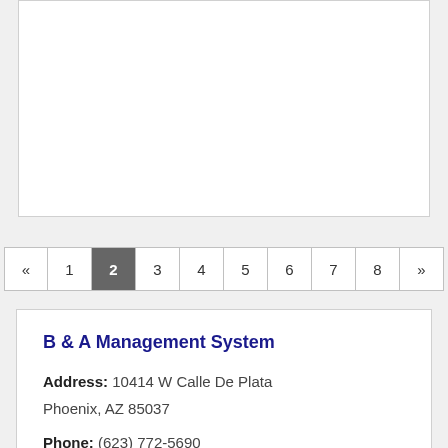« 1 2 3 4 5 6 7 8 »
B & A Management System
Address: 10414 W Calle De Plata Phoenix, AZ 85037
Phone: (623) 772-5690